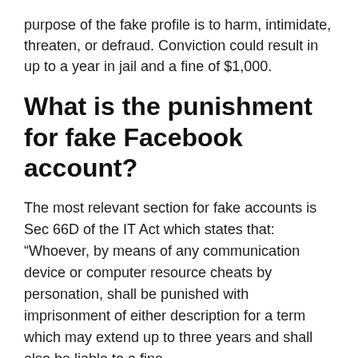purpose of the fake profile is to harm, intimidate, threaten, or defraud. Conviction could result in up to a year in jail and a fine of $1,000.
What is the punishment for fake Facebook account?
The most relevant section for fake accounts is Sec 66D of the IT Act which states that: “Whoever, by means of any communication device or computer resource cheats by personation, shall be punished with imprisonment of either description for a term which may extend up to three years and shall also be liable to a fine ...